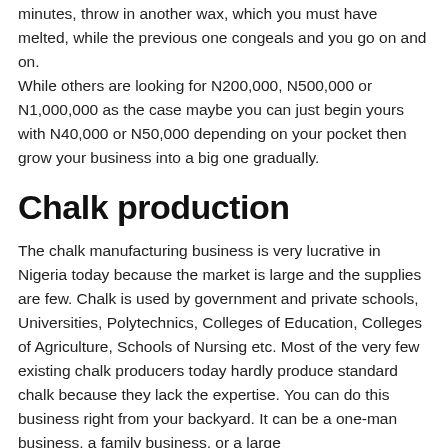minutes, throw in another wax, which you must have melted, while the previous one congeals and you go on and on.
While others are looking for N200,000, N500,000 or N1,000,000 as the case maybe you can just begin yours with N40,000 or N50,000 depending on your pocket then grow your business into a big one gradually.
Chalk production
The chalk manufacturing business is very lucrative in Nigeria today because the market is large and the supplies are few. Chalk is used by government and private schools, Universities, Polytechnics, Colleges of Education, Colleges of Agriculture, Schools of Nursing etc. Most of the very few existing chalk producers today hardly produce standard chalk because they lack the expertise. You can do this business right from your backyard. It can be a one-man business, a family business, or a large